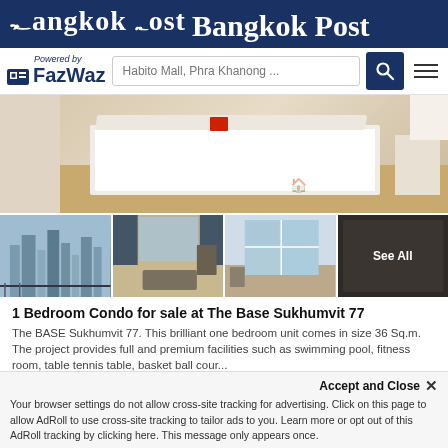Bangkok Post
[Figure (logo): FazWaz logo with 'Powered by' text above]
Habito Mall, Phra Khanong ...
[Figure (photo): Main photo of bedroom interior at The Base Sukhumvit 77 condo]
[Figure (photo): Grid of 4 smaller photos: city skyline view, living area, room with window view, darkened room]
1 Bedroom Condo for sale at The Base Sukhumvit 77
The BASE Sukhumvit 77. This brilliant one bedroom unit comes in size 36 Sq.m. The project provides full and premium facilities such as swimming pool, fitness room, table tennis table, basket ball cour...
1  1  36 SqM  Condo
Accept and Close ×
Your browser settings do not allow cross-site tracking for advertising. Click on this page to allow AdRoll to use cross-site tracking to tailor ads to you. Learn more or opt out of this AdRoll tracking by clicking here. This message only appears once.